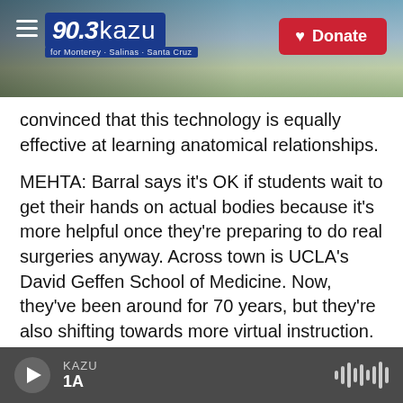[Figure (screenshot): KAZU 90.3 radio station header banner with logo and Donate button, coastal landscape background]
convinced that this technology is equally effective at learning anatomical relationships.
MEHTA: Barral says it's OK if students wait to get their hands on actual bodies because it's more helpful once they're preparing to do real surgeries anyway. Across town is UCLA's David Geffen School of Medicine. Now, they've been around for 70 years, but they're also shifting towards more virtual instruction.
CLARENCE BRADDOCK: Our experience with the pandemic helped us to realize the things that we
KAZU 1A